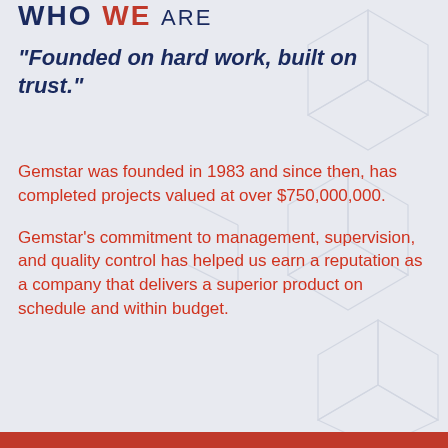WHO WE ARE
“Founded on hard work, built on trust.”
Gemstar was founded in 1983 and since then, has completed projects valued at over $750,000,000.
Gemstar’s commitment to management, supervision, and quality control has helped us earn a reputation as a company that delivers a superior product on schedule and within budget.